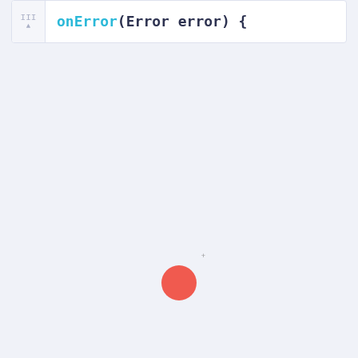[Figure (screenshot): Code editor screenshot showing method signature 'onError(Error error) {' with line numbers panel on the left, on a white background]
[Figure (other): Red filled circle centered on a light blue-gray background, with a small plus/cross symbol to its upper right]